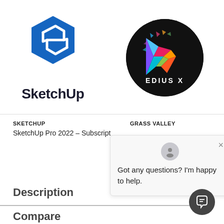[Figure (logo): SketchUp hexagonal blue logo with 'SketchUp' wordmark below]
[Figure (logo): EDIUS X circular logo with colorful geometric prism on black background]
SKETCHUP
GRASS VALLEY
SketchUp Pro 2022 – Subscript
Got any questions? I'm happy to help.
Description
Compare